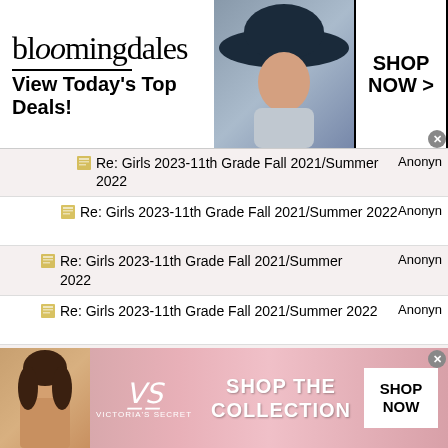[Figure (screenshot): Bloomingdale's advertisement banner: logo, 'View Today's Top Deals!', model with hat, SHOP NOW button]
Re: Girls 2023-11th Grade Fall 2021/Summer 2022 | Anonym
Re: Girls 2023-11th Grade Fall 2021/Summer 2022 | Anonym
Re: Girls 2023-11th Grade Fall 2021/Summer 2022 | Anonym
Re: Girls 2023-11th Grade Fall 2021/Summer 2022 | Anonym
Re: Girls 2023-11th Grade Fall 2021/Summer 2022 | Anonym
Re: Girls 2023-11th Grade Fall 2021/Summer 2022 | Anonym
Re: Girls 2023-11th Grade Fall 2021/Summer 2022 | Anonym
[Figure (screenshot): Victoria's Secret advertisement banner: model, VS logo, SHOP THE COLLECTION text, SHOP NOW button]